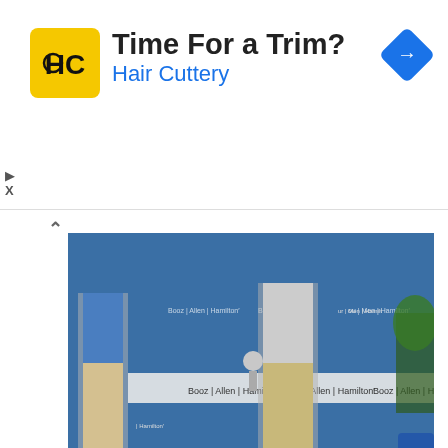[Figure (other): Hair Cuttery advertisement banner with logo, headline 'Time For a Trim?' and subline 'Hair Cuttery' with navigation arrow icon]
[Figure (photo): Photo of people at a ribbon-cutting ceremony in front of Booz Allen Hamilton branded backdrop]
EDC BUSINESS SPOTLIGHT The Economic Development Commission of Florida's Space Coast joined Booz Allen Hamilton CEO Horacio D. Rozanski to officially celebrate the company's Space Coast office in Melbourne. SIGN UP FOR SPACE COAST DAILY NEWS TEXT ALERTS HERE: BREVARD COUNTY, FLORIDA – The Economic Development